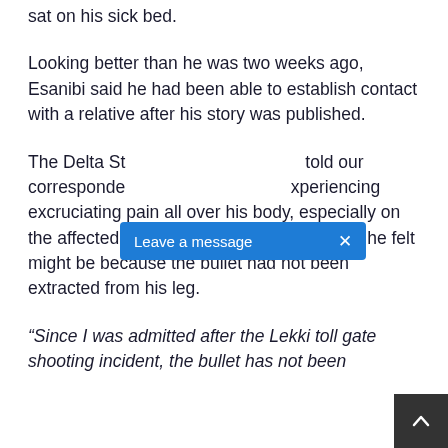sat on his sick bed.
Looking better than he was two weeks ago, Esanibi said he had been able to establish contact with a relative after his story was published.
The Delta State indigene, however, told our correspondent that he had been experiencing excruciating pain all over his body, especially on the affected limb, noting that the discomfort he felt might be because the bullet had not been extracted from his leg.
[Figure (screenshot): A blue 'Leave a message' popup bar overlaying the article text, with an X close button on the right.]
“Since I was admitted after the Lekki toll gate shooting incident, the bullet has not been